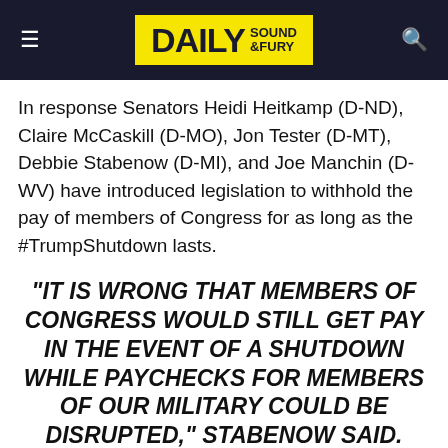DAILY SOUND & FURY
In response Senators Heidi Heitkamp (D-ND), Claire McCaskill (D-MO), Jon Tester (D-MT), Debbie Stabenow (D-MI), and Joe Manchin (D-WV) have introduced legislation to withhold the pay of members of Congress for as long as the #TrumpShutdown lasts.
“IT IS WRONG THAT MEMBERS OF CONGRESS WOULD STILL GET PAY IN THE EVENT OF A SHUTDOWN WHILE PAYCHECKS FOR MEMBERS OF OUR MILITARY COULD BE DISRUPTED,” STABENOW SAID. “THIS BILL ENSURES THAT MEMBERS OF CONGRESS WILL